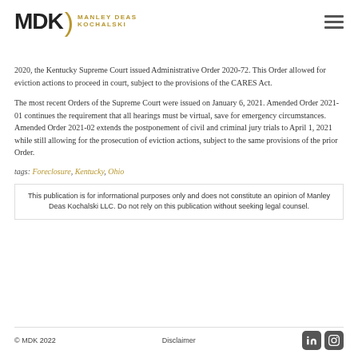[Figure (logo): MDK Manley Deas Kochalski law firm logo with gold parenthesis and text]
2020, the Kentucky Supreme Court issued Administrative Order 2020-72. This Order allowed for eviction actions to proceed in court, subject to the provisions of the CARES Act.
The most recent Orders of the Supreme Court were issued on January 6, 2021. Amended Order 2021-01 continues the requirement that all hearings must be virtual, save for emergency circumstances. Amended Order 2021-02 extends the postponement of civil and criminal jury trials to April 1, 2021 while still allowing for the prosecution of eviction actions, subject to the same provisions of the prior Order.
tags: Foreclosure, Kentucky, Ohio
This publication is for informational purposes only and does not constitute an opinion of Manley Deas Kochalski LLC. Do not rely on this publication without seeking legal counsel.
© MDK 2022    Disclaimer